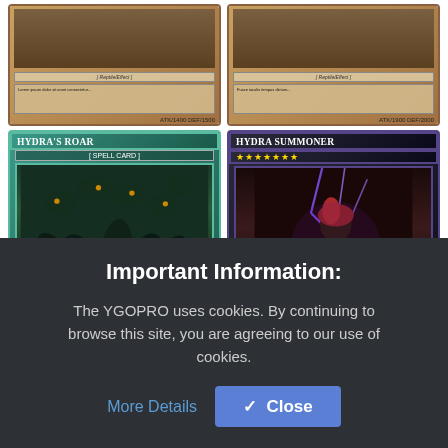[Figure (illustration): Grid of four Yu-Gi-Oh trading cards: top row shows two partially visible orange/brown effect monster cards (Reptile/Effect type) with ATK/DEF stats. Bottom row shows 'Hydra's Roar' (teal Spell Card) on the left and 'Hydra Summoner' (dark Effect Monster, Level 7, Reptile/Xyz/Effect, ATK 2300/DEF 2500) on the right.]
- Fire Core - power ** - type: combo
Important Information:
The YGOPRO uses cookies. By continuing to browse this site, you are agreeing to our use of cookies.
More Details
✔ Close